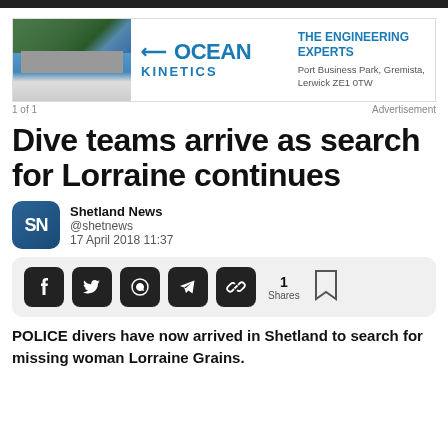[Figure (illustration): Ocean Kinetics advertisement banner with aerial photo of industrial building on left, Ocean Kinetics logo in center, and tagline 'THE ENGINEERING EXPERTS' with address 'Port Business Park, Gremista, Lerwick ZE1 0TW' on right]
1 of 1    Advertisement
Dive teams arrive as search for Lorraine continues
Shetland News @shetnews 17 April 2018 11:37
1 Shares
POLICE divers have now arrived in Shetland to search for missing woman Lorraine Grains.